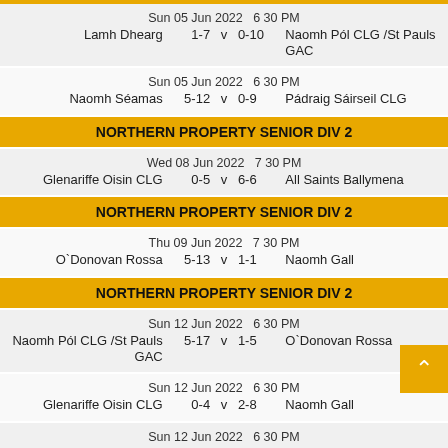| Date/Time | Home Team | Home Score | v | Away Score | Away Team |
| --- | --- | --- | --- | --- | --- |
| Sun 05 Jun 2022  6 30 PM | Lamh Dhearg | 1-7 | v | 0-10 | Naomh Pól CLG /St Pauls GAC |
| Sun 05 Jun 2022  6 30 PM | Naomh Séamas | 5-12 | v | 0-9 | Pádraig Sáirseil CLG |
NORTHERN PROPERTY SENIOR DIV 2
| Date/Time | Home Team | Home Score | v | Away Score | Away Team |
| --- | --- | --- | --- | --- | --- |
| Wed 08 Jun 2022  7 30 PM | Glenariffe Oisin CLG | 0-5 | v | 6-6 | All Saints Ballymena |
NORTHERN PROPERTY SENIOR DIV 2
| Date/Time | Home Team | Home Score | v | Away Score | Away Team |
| --- | --- | --- | --- | --- | --- |
| Thu 09 Jun 2022  7 30 PM | O`Donovan Rossa | 5-13 | v | 1-1 | Naomh Gall |
NORTHERN PROPERTY SENIOR DIV 2
| Date/Time | Home Team | Home Score | v | Away Score | Away Team |
| --- | --- | --- | --- | --- | --- |
| Sun 12 Jun 2022  6 30 PM | Naomh Pól CLG /St Pauls GAC | 5-17 | v | 1-5 | O`Donovan Rossa |
| Sun 12 Jun 2022  6 30 PM | Glenariffe Oisin CLG | 0-4 | v | 2-8 | Naomh Gall |
| Sun 12 Jun 2022  6 30 PM | Kickhams GAC Creggan | 0-1 | v | 8-9 | Lamh Dhearg |